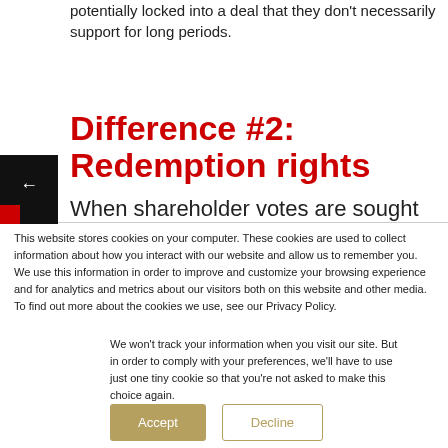potentially locked into a deal that they don't necessarily support for long periods.
Difference #2: Redemption rights
When shareholder votes are sought in the
This website stores cookies on your computer. These cookies are used to collect information about how you interact with our website and allow us to remember you. We use this information in order to improve and customize your browsing experience and for analytics and metrics about our visitors both on this website and other media. To find out more about the cookies we use, see our Privacy Policy.
We won't track your information when you visit our site. But in order to comply with your preferences, we'll have to use just one tiny cookie so that you're not asked to make this choice again.